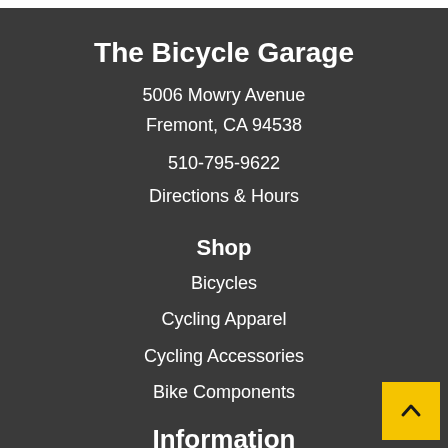The Bicycle Garage
5006 Mowry Avenue
Fremont, CA 94538
510-795-9622
Directions & Hours
Shop
Bicycles
Cycling Apparel
Cycling Accessories
Bike Components
Information